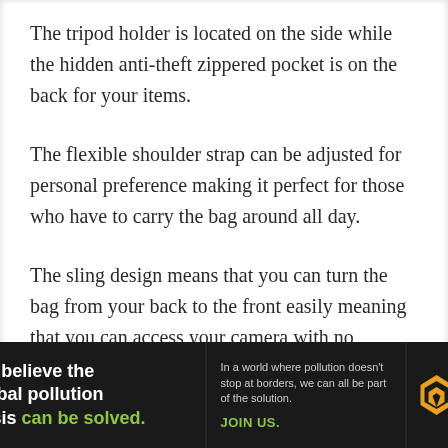The tripod holder is located on the side while the hidden anti-theft zippered pocket is on the back for your items.
The flexible shoulder strap can be adjusted for personal preference making it perfect for those who have to carry the bag around all day.
The sling design means that you can turn the bag from your back to the front easily meaning that you can access your camera with no problems.
Suitable for any size camera, this bag comes with
[Figure (other): Advertisement banner for Pure Earth organization. Black background with white and green text reading 'We believe the global pollution crisis can be solved.' alongside text 'In a world where pollution doesn't stop at borders, we can all be part of the solution. JOIN US.' and the Pure Earth logo with a diamond/arrow icon.]